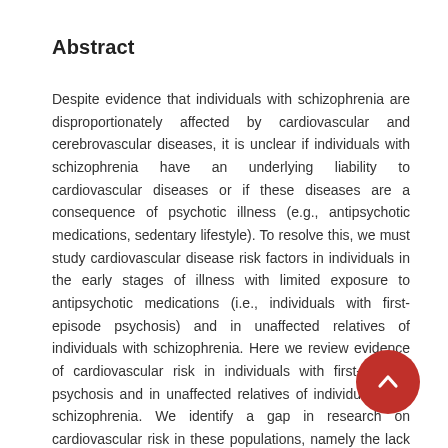Abstract
Despite evidence that individuals with schizophrenia are disproportionately affected by cardiovascular and cerebrovascular diseases, it is unclear if individuals with schizophrenia have an underlying liability to cardiovascular diseases or if these diseases are a consequence of psychotic illness (e.g., antipsychotic medications, sedentary lifestyle). To resolve this, we must study cardiovascular disease risk factors in individuals in the early stages of illness with limited exposure to antipsychotic medications (i.e., individuals with first-episode psychosis) and in unaffected relatives of individuals with schizophrenia. Here we review evidence of cardiovascular risk in individuals with first-episode psychosis and in unaffected relatives of individuals with schizophrenia. We identify a gap in research on cardiovascular risk in these populations, namely the lack of studies that directly visualize the vasculature, and we introduce a novel technology retinal imaging, that may be useful for directly visualizing the vasculature and clarifying pathophysiological mechanisms that underlie both schizophrenia and cardiovascular disease. We conclude with suggestions for priorities in future research using